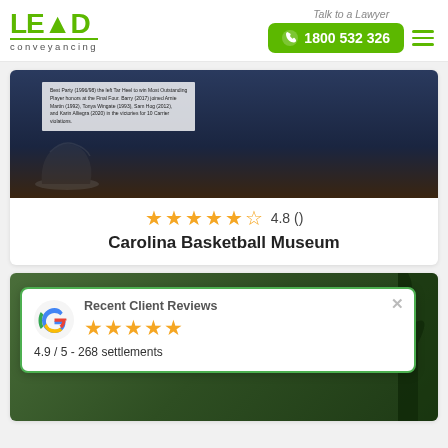LEAD conveyancing | Talk to a Lawyer 1800 532 326
[Figure (photo): Dark blue background museum display case photo with a white text overlay label showing basketball museum information, and a shoe silhouette visible]
4.8 ()
Carolina Basketball Museum
[Figure (photo): Green forest/trees background with a Google Reviews popup overlay showing Recent Client Reviews, 5 stars, 4.9 / 5 - 268 settlements]